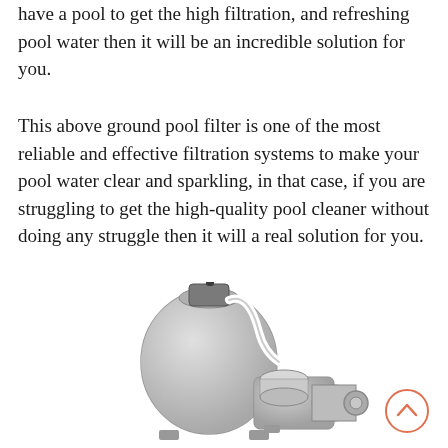have a pool to get the high filtration, and refreshing pool water then it will be an incredible solution for you.
This above ground pool filter is one of the most reliable and effective filtration systems to make your pool water clear and sparkling, in that case, if you are struggling to get the high-quality pool cleaner without doing any struggle then it will a real solution for you.
[Figure (photo): A pool sand filter unit with a multiport valve on top and an attached pump motor, shown in grey/silver color against a white background.]